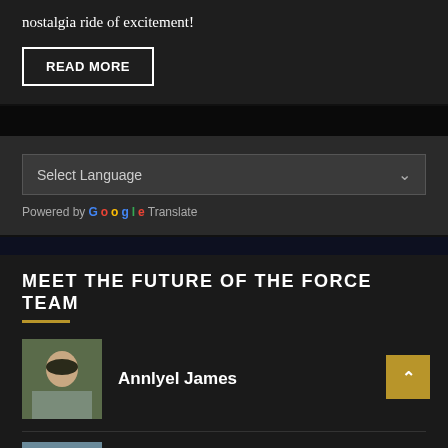nostalgia ride of excitement!
READ MORE
Select Language
Powered by Google Translate
MEET THE FUTURE OF THE FORCE TEAM
Annlyel James
Katelyn Mathis